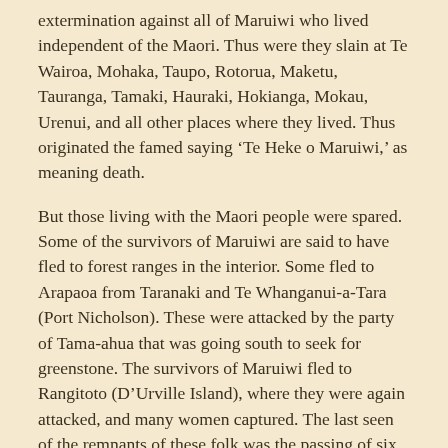extermination against all of Maruiwi who lived independent of the Maori. Thus were they slain at Te Wairoa, Mohaka, Taupo, Rotorua, Maketu, Tauranga, Tamaki, Hauraki, Hokianga, Mokau, Urenui, and all other places where they lived. Thus originated the famed saying 'Te Heke o Maruiwi,' as meaning death.
But those living with the Maori people were spared. Some of the survivors of Maruiwi are said to have fled to forest ranges in the interior. Some fled to Arapaoa from Taranaki and Te Whanganui-a-Tara (Port Nicholson). These were attacked by the party of Tama-ahua that was going south to seek for greenstone. The survivors of Maruiwi fled to Rangitoto (D'Urville Island), where they were again attacked, and many women captured. The last seen of the remnants of these folk was the passing of six canoes through Raukawa (Cook Strait) on the way to Wharekauri (Chatham Islands). Such is the story of